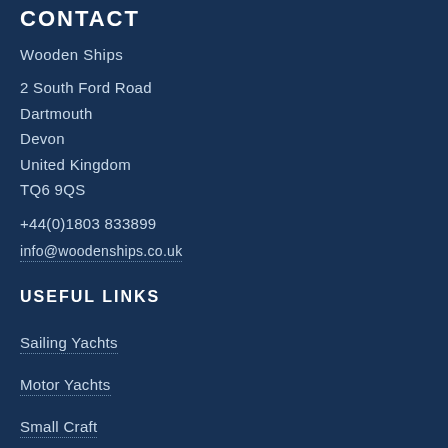CONTACT
Wooden Ships
2 South Ford Road
Dartmouth
Devon
United Kingdom
TQ6 9QS
+44(0)1803 833899
info@woodenships.co.uk
USEFUL LINKS
Sailing Yachts
Motor Yachts
Small Craft